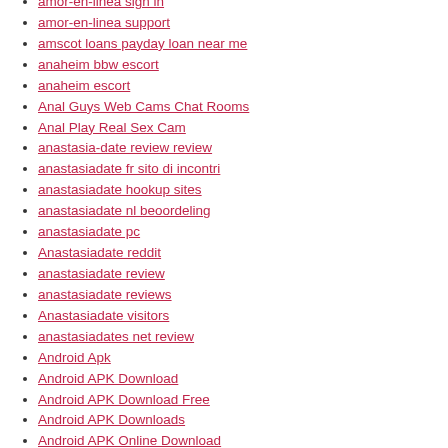amor-en-linea sign in
amor-en-linea support
amscot loans payday loan near me
anaheim bbw escort
anaheim escort
Anal Guys Web Cams Chat Rooms
Anal Play Real Sex Cam
anastasia-date review review
anastasiadate fr sito di incontri
anastasiadate hookup sites
anastasiadate nl beoordeling
anastasiadate pc
Anastasiadate reddit
anastasiadate review
anastasiadate reviews
Anastasiadate visitors
anastasiadates net review
Android Apk
Android APK Download
Android APK Download Free
Android APK Downloads
Android APK Online Download
Android APKs and Game Downloads
Android APKs Downloads
Android App APKs Download